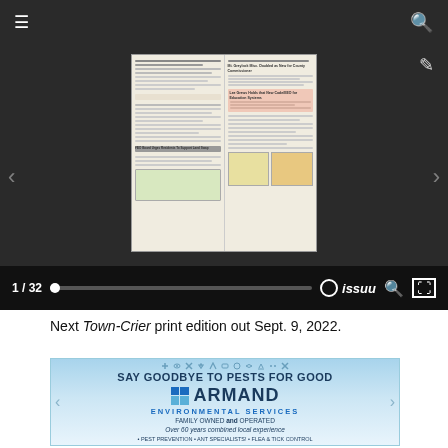[Figure (screenshot): Issuu digital magazine viewer showing a newspaper page thumbnail with controls at the bottom showing '1 / 32', a progress bar, Issuu logo, search and fullscreen icons. The viewer has a dark background.]
Next Town-Crier print edition out Sept. 9, 2022.
[Figure (illustration): Advertisement for Armand Environmental Services with light blue gradient background, pest icons at top, headline 'SAY GOODBYE TO PESTS FOR GOOD', Armand logo with blue grid squares, text 'ENVIRONMENTAL SERVICES', 'FAMILY OWNED and OPERATED', 'Over 60 years combined local experience', and bullet points 'PEST PREVENTION • ANT SPECIALISTS! • FLEA & TICK CONTROL']